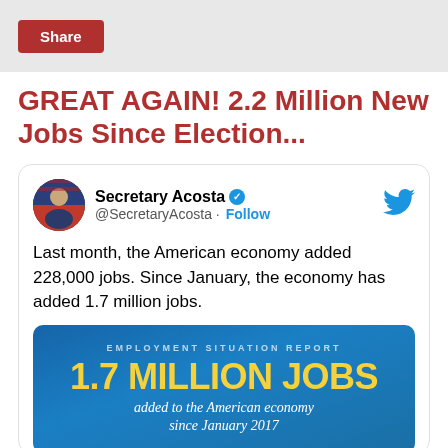Share
GREAT AGAIN! 2.2 Million New Jobs Since Election...
[Figure (screenshot): Embedded tweet from @SecretaryAcosta with text: 'Last month, the American economy added 228,000 jobs. Since January, the economy has added 1.7 million jobs.' with an infographic image showing EMPLOYMENT SITUATION REPORT - 1.7 MILLION JOBS added to the American economy since January 2017]
Last month, the American economy added 228,000 jobs. Since January, the economy has added 1.7 million jobs.
[Figure (infographic): Blue background infographic: EMPLOYMENT SITUATION REPORT - 1.7 MILLION JOBS added to the American economy since January 2017]